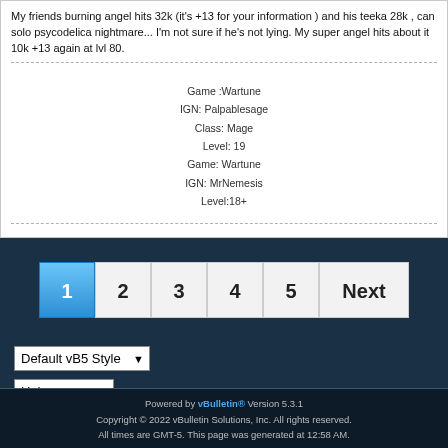My friends burning angel hits 32k (it's +13 for your information ) and his teeka 28k , can solo psycodelica nightmare... I'm not sure if he's not lying. My super angel hits about it 10k +13 again at lvl 80.
Game :Wartune
IGN: Palpablesage
Class: Mage
Level: 19
Game: Wartune
IGN: MrNemesis
Level:18+
1
2
3
4
5
Next
Default vB5 Style
Help
Powered by vBulletin® Version 5.3.1
Copyright © 2022 vBulletin Solutions, Inc. All rights reserved.
All times are GMT-5. This page was generated at 12:58 AM.